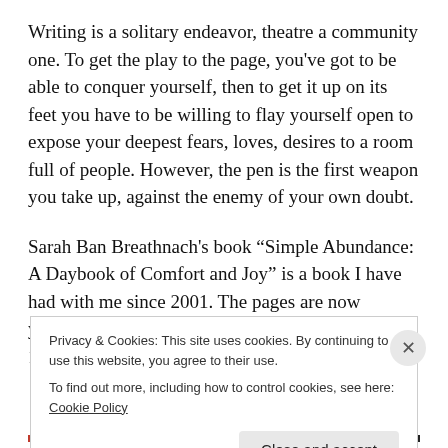Writing is a solitary endeavor, theatre a community one. To get the play to the page, you've got to be able to conquer yourself, then to get it up on its feet you have to be willing to flay yourself open to expose your deepest fears, loves, desires to a room full of people. However, the pen is the first weapon you take up, against the enemy of your own doubt.
Sarah Ban Breathnach's book “Simple Abundance: A Daybook of Comfort and Joy” is a book I have had with me since 2001. The pages are now yellowed, the sticky notes are crumbling, and for 18 years I have
Privacy & Cookies: This site uses cookies. By continuing to use this website, you agree to their use.
To find out more, including how to control cookies, see here: Cookie Policy